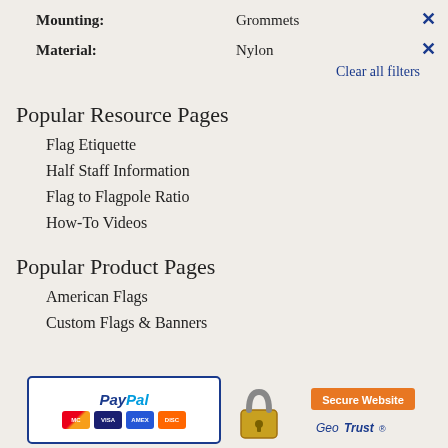Mounting: Grommets
Material: Nylon
Clear all filters
Popular Resource Pages
Flag Etiquette
Half Staff Information
Flag to Flagpole Ratio
How-To Videos
Popular Product Pages
American Flags
Custom Flags & Banners
[Figure (logo): PayPal payment logo with credit card icons (MasterCard, Visa, Amex, Discover)]
[Figure (logo): GeoTrust Secure Website badge with padlock icon]